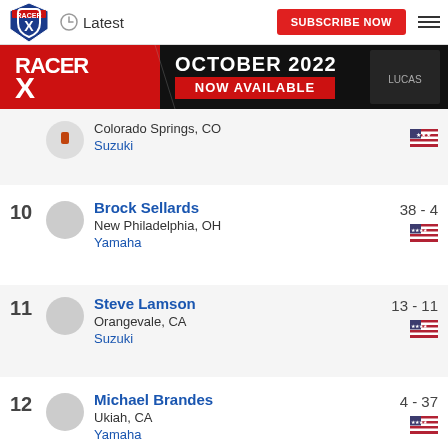Racer X — Latest | SUBSCRIBE NOW
[Figure (photo): Racer X October 2022 Now Available banner advertisement with motocross rider]
Colorado Springs, CO / Suzuki — [US flag]
10 — Brock Sellards — New Philadelphia, OH — Yamaha — 38 - 4 — [US flag]
11 — Steve Lamson — Orangevale, CA — Suzuki — 13 - 11 — [US flag]
12 — Michael Brandes — Ukiah, CA — Yamaha — 4 - 37 — [US flag]
13 — Matthieu Lalloz — Corona, CA — Suzuki — 12 - 13 — [US flag]